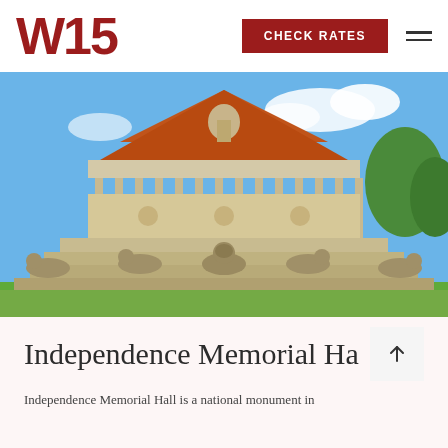W15  CHECK RATES
[Figure (photo): Photograph of Independence Memorial Hall, a colonial-style monument with a reddish-brown tiled pyramid roof, ornate stone columns, decorative carvings, and stone lion statues on tiered steps in front, set against a bright blue sky with green trees.]
Independence Memorial Hall
Independence Memorial Hall is a national monument in